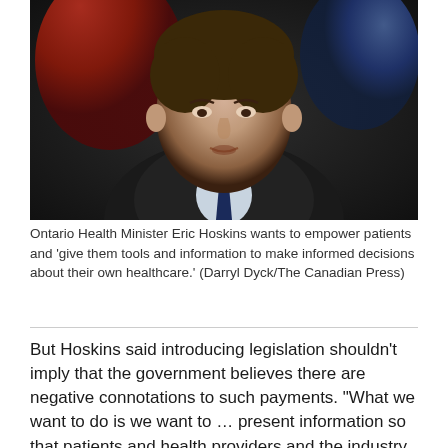[Figure (photo): Photo of Ontario Health Minister Eric Hoskins speaking, with Canadian flags visible in the background. He is wearing a dark suit and blue tie.]
Ontario Health Minister Eric Hoskins wants to empower patients and 'give them tools and information to make informed decisions about their own healthcare.' (Darryl Dyck/The Canadian Press)
But Hoskins said introducing legislation shouldn't imply that the government believes there are negative connotations to such payments. "What we want to do is we want to … present information so that patients and health providers and the industry can have a